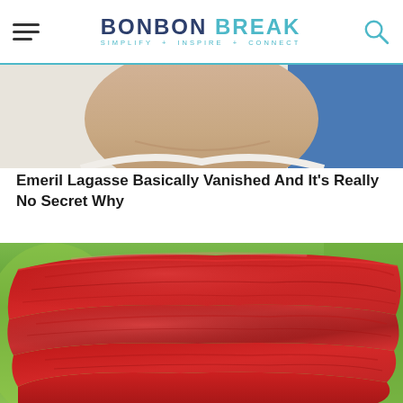BONBON BREAK — SIMPLIFY + INSPIRE + CONNECT
[Figure (photo): Close-up photo of a person's chin/lower face, cropped — partially visible at top of page]
Emeril Lagasse Basically Vanished And It's Really No Secret Why
[Figure (photo): Close-up photo of stacked raw red meat steaks or cuts, held together, with a blurred green background]